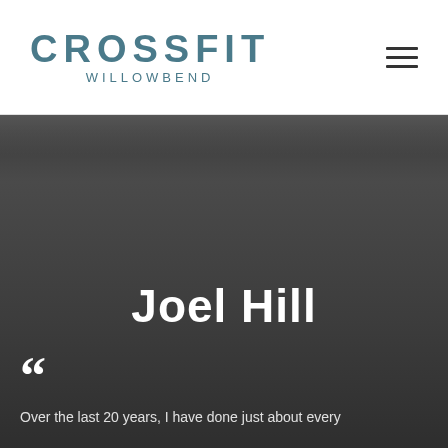[Figure (logo): CrossFit Willowbend logo in teal/steel blue with large CROSSFIT text and smaller WILLOWBEND subtitle]
[Figure (other): Dark gray background section with dimly lit photo of people working out, overlaid with text]
Joel Hill
Over the last 20 years, I have done just about every